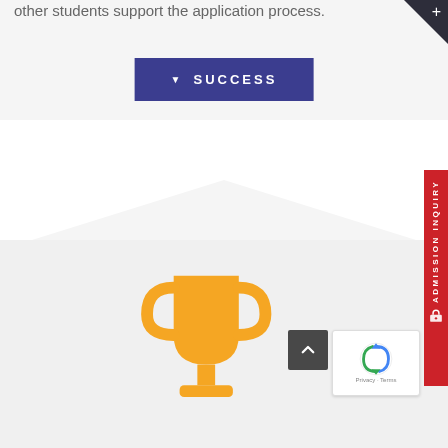other students support the application process.
[Figure (screenshot): Blue 'SUCCESS' button with downward chevron on dark blue/indigo background]
[Figure (illustration): Orange trophy/cup icon on light gray background]
[Figure (screenshot): Red vertical 'ADMISSION INQUIRY' sidebar button on right edge]
[Figure (screenshot): Dark gray back-to-top arrow button and Google reCAPTCHA widget with Privacy and Terms links]